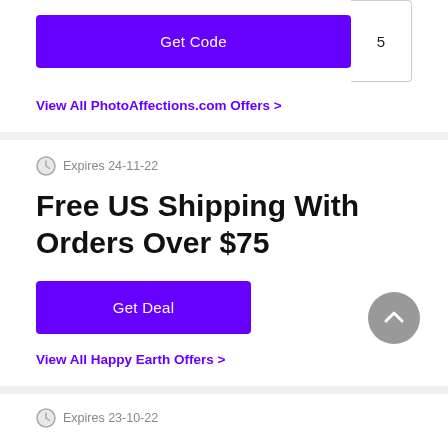[Figure (screenshot): Purple 'Get Code' button with a code box showing '5' to the right]
View All PhotoAffections.com Offers >
Expires 24-11-22
Free US Shipping With Orders Over $75
[Figure (screenshot): Purple 'Get Deal' button]
View All Happy Earth Offers >
Expires 23-10-22